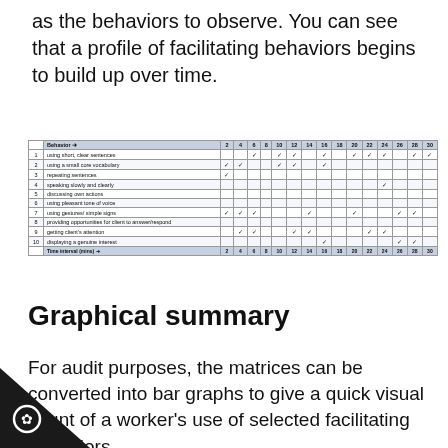as the behaviors to observe. You can see that a profile of facilitating behaviors begins to build up over time.
|  | Behavior ➜ | 2 | 4 | 6 | 8 | 10 | 12 | 14 | 16 | 18 | 20 | 22 | 24 | 26 | 28 | 30 |
| --- | --- | --- | --- | --- | --- | --- | --- | --- | --- | --- | --- | --- | --- | --- | --- | --- |
| 1 | using short, clear sentences |  |  | ✓ |  | ✓ | ✓ |  | ✓ |  | ✓ | ✓ | ✓ |  | ✓ | ✓ |
| 2 | using a small core vocabulary | ✓ | ✓ |  |  | ✓ | ✓ |  | ✓ |  |  |  |  |  |  |  |
| 3 | repeating sentences | ✓ |  |  |  |  |  |  |  |  |  |  |  |  |  |  |
| 4 | speaking slowly and clearly |  |  |  |  |  |  |  |  |  |  |  | ✓ |  |  |  |
| 5 | discussing own actions |  |  |  |  |  |  |  |  |  |  |  |  |  |  |  |
| 6 | using pleasant tone of voice |  |  |  |  |  |  |  |  |  |  |  |  |  |  |  |
| 7 | using gestures/ simple signs | ✓ | ✓ | ✓ |  |  |  | ✓ |  |  | ✓ |  |  | ✓ | ✓ |
| 8 | providing opportunities for client to answer/respond |  |  |  |  |  |  |  |  |  |  |  |  |  |  |  |
| 9 | getting client's attention |  | ✓ | ✓ |  |  | ✓ | ✓ |  |  |  | ✓ | ✓ |  |  |  |
| 10 | displaying a genuine interest |  |  |  |  |  |  |  | ✓ |  |  |  |  | ✓ | ✓ |
Graphical summary
For audit purposes, the matrices can be converted into bar graphs to give a quick visual count of a worker's use of selected facilitating behaviors.